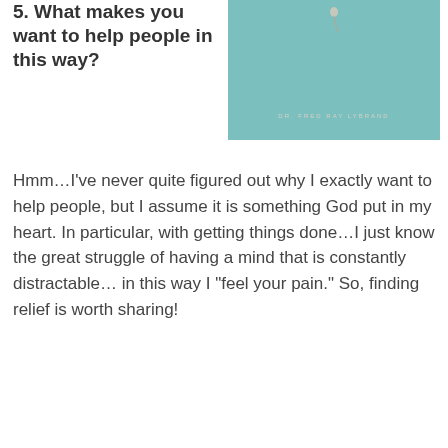5. What makes you want to help people in this way?
[Figure (illustration): Teal/mint colored book cover with small pin/needle illustration at top and author text 'DR. FRED RAY LYBRAND' in small caps near bottom]
Hmm…I’ve never quite figured out why I exactly want to help people, but I assume it is something God put in my heart. In particular, with getting things done…I just know the great struggle of having a mind that is constantly dis-tractable… in this way I “feel your pain.” So, finding relief is worth sharing!